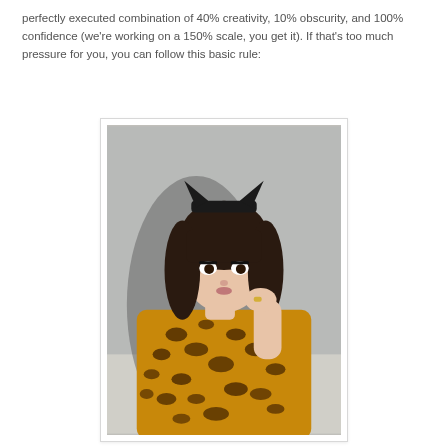perfectly executed combination of 40% creativity, 10% obscurity, and 100% confidence (we're working on a 150% scale, you get it). If that's too much pressure for you, you can follow this basic rule:
[Figure (photo): A woman with dark hair wearing a black cat-ear headband and a leopard print coat, posing with hand near face against a grey background.]